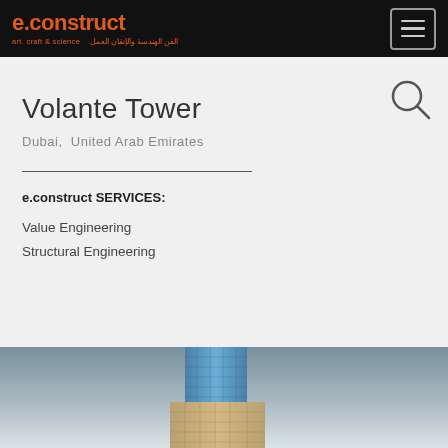e.construct art. craft & science  |  الفن الهندسة والإتقان العمل
Volante Tower
Dubai,  United Arab Emirates
e.construct SERVICES:
Value Engineering
Structural Engineering
[Figure (photo): Photograph of Volante Tower, a tall modern glass and concrete high-rise building photographed from below against a grey-blue sky in Dubai, United Arab Emirates.]